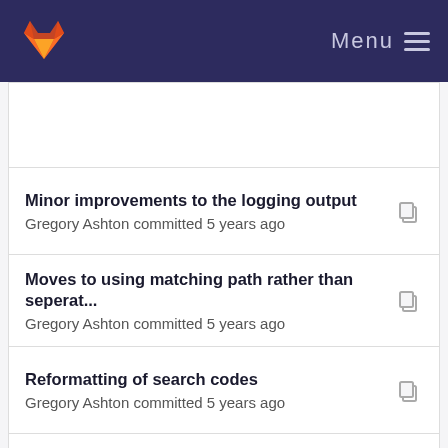GitLab — Menu
Minor improvements to the logging output
Gregory Ashton committed 5 years ago
Moves to using matching path rather than seperat...
Gregory Ashton committed 5 years ago
Reformatting of search codes
Gregory Ashton committed 5 years ago
Adds initial check of the typical number of segme...
Gregory Ashton committed 5 years ago
Adds functionality to compute and plot the cumul...
Gregory Ashton committed 5 years ago
Several minor improvements
Gregory Ashton committed 5 years ago